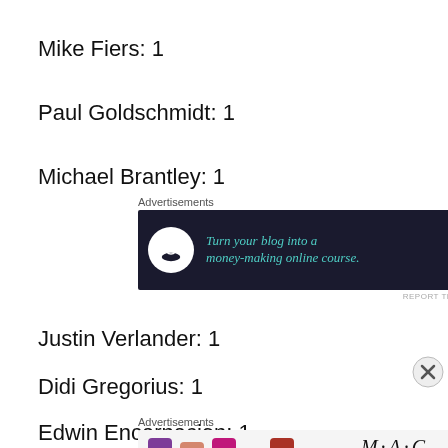Mike Fiers: 1
Paul Goldschmidt: 1
Michael Brantley: 1
[Figure (other): Advertisement banner: Turn your blog into a money-making online course.]
Justin Verlander: 1
Didi Gregorius: 1
Edwin Encarnacion: 1
[Figure (other): Advertisement banner: MAC cosmetics lipstick ad with SHOP NOW button.]